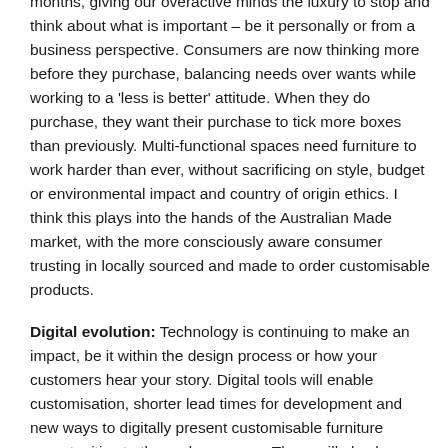months, giving our overactive minds the luxury to stop and think about what is important – be it personally or from a business perspective. Consumers are now thinking more before they purchase, balancing needs over wants while working to a 'less is better' attitude. When they do purchase, they want their purchase to tick more boxes than previously. Multi-functional spaces need furniture to work harder than ever, without sacrificing on style, budget or environmental impact and country of origin ethics. I think this plays into the hands of the Australian Made market, with the more consciously aware consumer trusting in locally sourced and made to order customisable products.
Digital evolution: Technology is continuing to make an impact, be it within the design process or how your customers hear your story. Digital tools will enable customisation, shorter lead times for development and new ways to digitally present customisable furniture opportunities to the end consumer. There will also be a shift in the development of treatment options and items that offer a sense of protection and reassurance – items that have always been commercial, such as fabric treatments, air filtration and alkaline water systems, will be redesigned so that they are